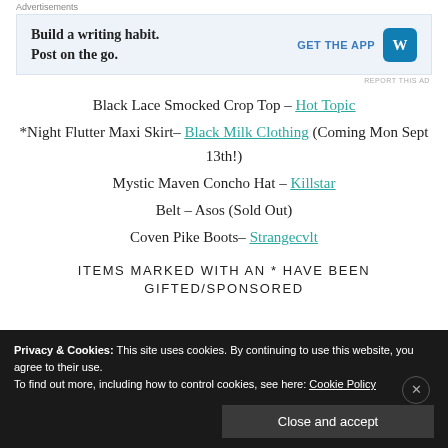Advertisements
[Figure (infographic): Advertisement banner: 'Build a writing habit. Post on the go.' with GET THE APP button and WordPress logo]
Black Lace Smocked Crop Top – Hot Topic
*Night Flutter Maxi Skirt– Black Milk Clothing (Coming Mon Sept 13th!)
Mystic Maven Concho Hat – Killstar
Belt – Asos (Sold Out)
Coven Pike Boots– Strangecvlt
ITEMS MARKED WITH AN * HAVE BEEN GIFTED/SPONSORED
Privacy & Cookies: This site uses cookies. By continuing to use this website, you agree to their use. To find out more, including how to control cookies, see here: Cookie Policy